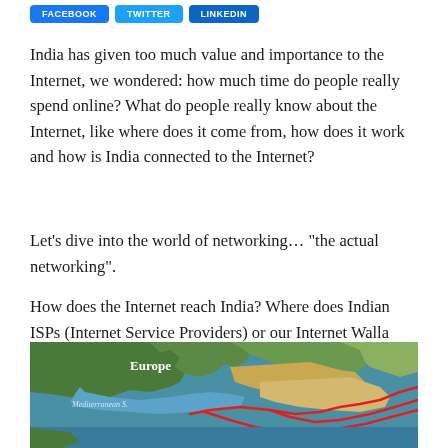FACEBOOK | TWITTER | LINKEDIN
India has given too much value and importance to the Internet, we wondered: how much time do people really spend online? What do people really know about the Internet, like where does it come from, how does it work and how is India connected to the Internet?
Let’s dive into the world of networking… “the actual networking”.
How does the Internet reach India? Where does Indian ISPs (Internet Service Providers) or our Internet Walla receives internet from?
[Figure (map): Satellite map showing Europe, Mediterranean Sea, and surrounding regions with red route lines drawn across the Middle East and Asia, indicating internet cable routes to India.]